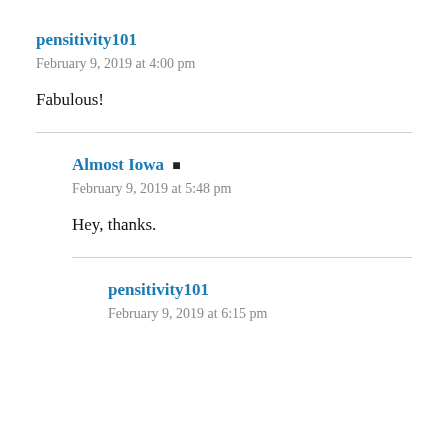pensitivity101
February 9, 2019 at 4:00 pm
Fabulous!
Almost Iowa
February 9, 2019 at 5:48 pm
Hey, thanks.
pensitivity101
February 9, 2019 at 6:15 pm